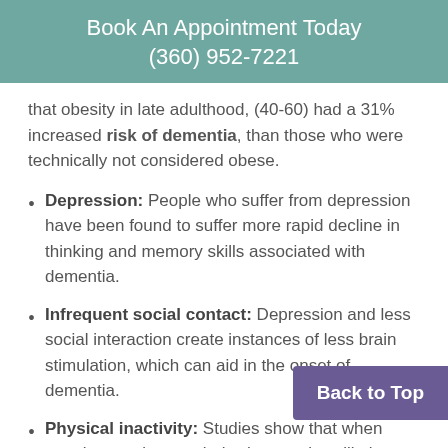Book An Appointment Today
(360) 952-7221
that obesity in late adulthood, (40-60) had a 31% increased risk of dementia, than those who were technically not considered obese.
Depression: People who suffer from depression have been found to suffer more rapid decline in thinking and memory skills associated with dementia.
Infrequent social contact: Depression and less social interaction create instances of less brain stimulation, which can aid in the onset of dementia.
Physical inactivity: Studies show that when people exercise regularly, they are less likely to experience cognitive decline and